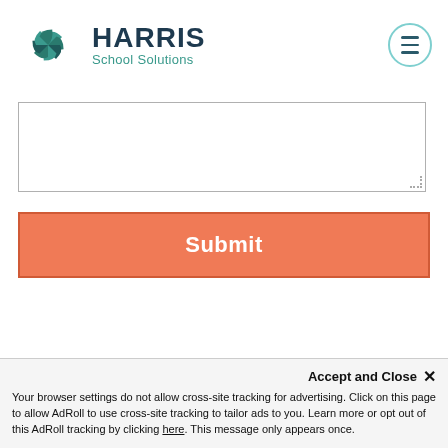[Figure (logo): Harris School Solutions logo with teal pinwheel/fan icon and company name]
[Figure (other): Hamburger menu button — circle with three horizontal lines]
[Figure (other): Text area input box (empty, resizable)]
[Figure (other): Submit button — orange/salmon colored rectangle with white bold text 'Submit']
Accept and Close ×
Your browser settings do not allow cross-site tracking for advertising. Click on this page to allow AdRoll to use cross-site tracking to tailor ads to you. Learn more or opt out of this AdRoll tracking by clicking here. This message only appears once.